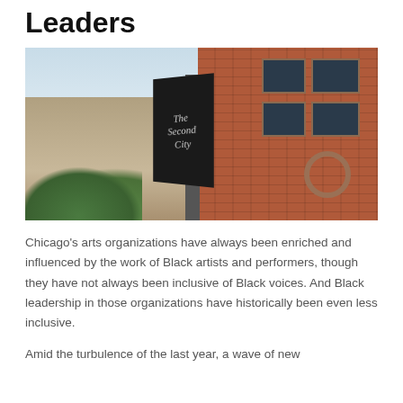Leaders
[Figure (photo): Exterior photo of The Second City building in Chicago, showing a brick building with a large vertical black sign reading 'The Second City', blue sky in the background, and trees in the foreground.]
Chicago's arts organizations have always been enriched and influenced by the work of Black artists and performers, though they have not always been inclusive of Black voices. And Black leadership in those organizations have historically been even less inclusive.
Amid the turbulence of the last year, a wave of new